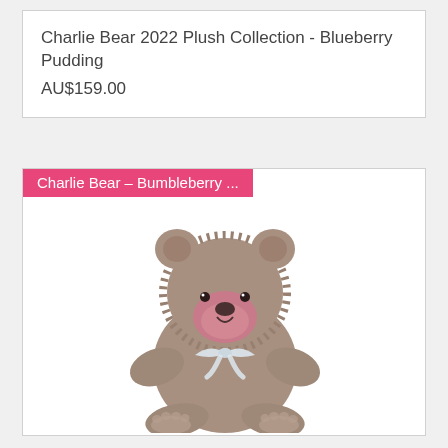Charlie Bear 2022 Plush Collection - Blueberry Pudding
AU$159.00
[Figure (photo): A fluffy grey teddy bear plush toy with a pink nose and mouth area, wearing a white ribbon bow around its neck, sitting with paw pads visible on its feet. Label overlay reads 'Charlie Bear - Bumbleberry ...' in white text on a pink/hot-pink background banner.]